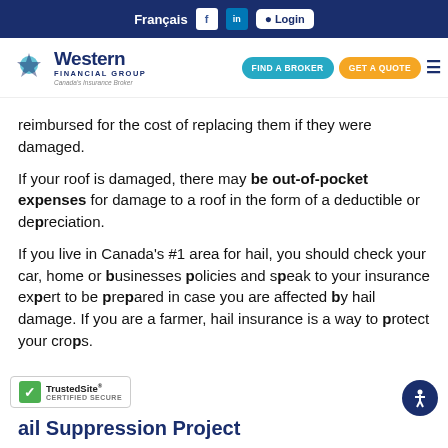Français  f  in  Login
[Figure (logo): Western Financial Group - Canada's Insurance Broker logo with navigation buttons: FIND A BROKER, GET A QUOTE, and hamburger menu]
reimbursed for the cost of replacing them if they were damaged.
If your roof is damaged, there may be out-of-pocket expenses for damage to a roof in the form of a deductible or depreciation.
If you live in Canada's #1 area for hail, you should check your car, home or businesses policies and speak to your insurance expert to be prepared in case you are affected by hail damage. If you are a farmer, hail insurance is a way to protect your crops.
ail Suppression Project